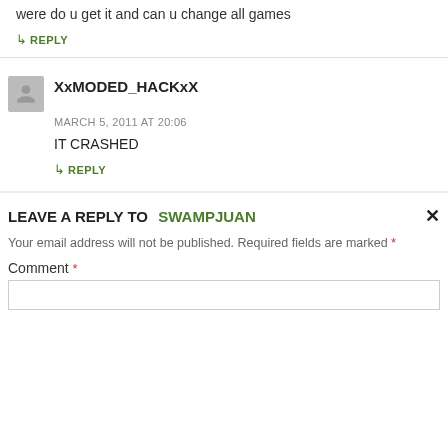were do u get it and can u change all games
↳ REPLY
XxMODED_HACKxX
MARCH 5, 2011 AT 20:06
IT CRASHED
↳ REPLY
LEAVE A REPLY TO SWAMPJUAN ×
Your email address will not be published. Required fields are marked *
Comment *